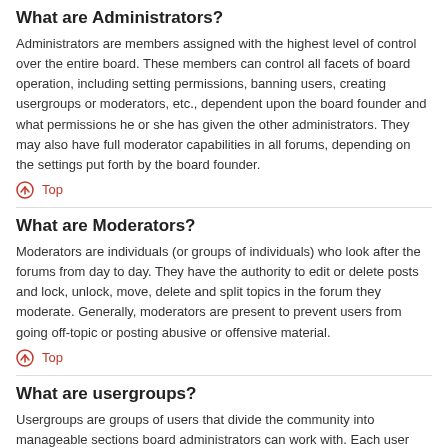What are Administrators?
Administrators are members assigned with the highest level of control over the entire board. These members can control all facets of board operation, including setting permissions, banning users, creating usergroups or moderators, etc., dependent upon the board founder and what permissions he or she has given the other administrators. They may also have full moderator capabilities in all forums, depending on the settings put forth by the board founder.
Top
What are Moderators?
Moderators are individuals (or groups of individuals) who look after the forums from day to day. They have the authority to edit or delete posts and lock, unlock, move, delete and split topics in the forum they moderate. Generally, moderators are present to prevent users from going off-topic or posting abusive or offensive material.
Top
What are usergroups?
Usergroups are groups of users that divide the community into manageable sections board administrators can work with. Each user